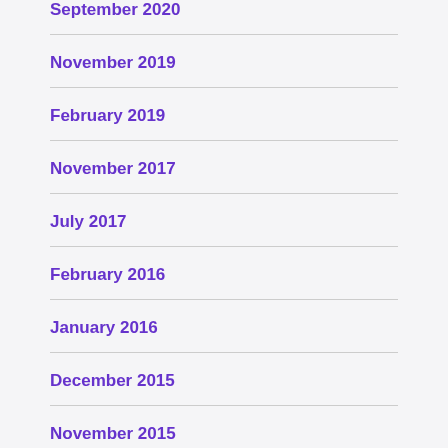September 2020
November 2019
February 2019
November 2017
July 2017
February 2016
January 2016
December 2015
November 2015